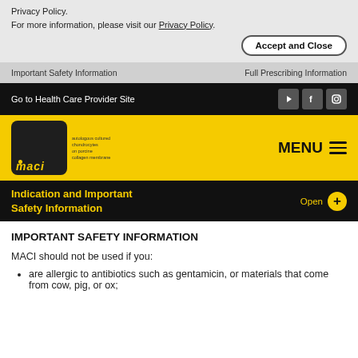Privacy Policy.
For more information, please visit our Privacy Policy.
Accept and Close
Important Safety Information    Full Prescribing Information
Go to Health Care Provider Site
[Figure (logo): MACI logo on yellow background with MENU hamburger icon]
Indication and Important Safety Information   Open +
IMPORTANT SAFETY INFORMATION
MACI should not be used if you:
are allergic to antibiotics such as gentamicin, or materials that come from cow, pig, or ox;